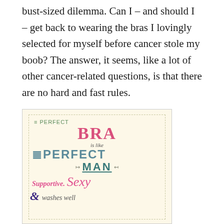bust-sized dilemma. Can I – and should I – get back to wearing the bras I lovingly selected for myself before cancer stole my boob? The answer, it seems, like a lot of other cancer-related questions, is that there are no hard and fast rules.
[Figure (illustration): Decorative poster-style image on a cream/yellow background with playful typography reading: 'The PERFECT BRA is like the PERFECT MAN — Supportive. Sexy & washes well' in various colors including pink, teal, and purple.]